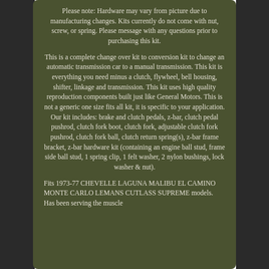Please note: Hardware may vary from picture due to manufacturing changes. Kits currently do not come with nut, screw, or spring. Please message with any questions prior to purchasing this kit.
This is a complete change over kit to conversion kit to change an automatic transmission car to a manual transmission. This kit is everything you need minus a clutch, flywheel, bell housing, shifter, linkage and transmission. This kit uses high quality reproduction components built just like General Motors. This is not a generic one size fits all kit, it is specific to your application. Our kit includes: brake and clutch pedals, z-bar, clutch pedal pushrod, clutch fork boot, clutch fork, adjustable clutch fork pushrod, clutch fork ball, clutch return spring(s), z-bar frame bracket, z-bar hardware kit (containing an engine ball stud, frame side ball stud, 1 spring clip, 1 felt washer, 2 nylon bushings, lock washer & nut).
Fits 1973-77 CHEVELLE LAGUNA MALIBU EL CAMINO MONTE CARLO LEMANS CUTLASS SUPREME models. Has been serving the muscle